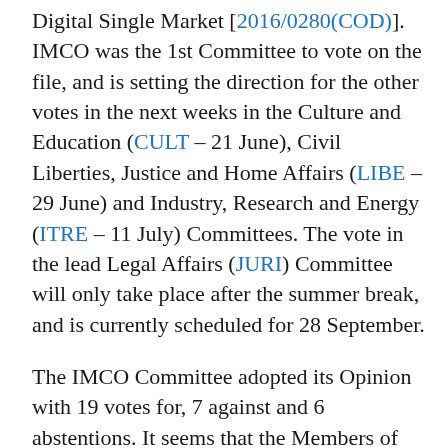Digital Single Market [2016/0280(COD)]. IMCO was the 1st Committee to vote on the file, and is setting the direction for the other votes in the next weeks in the Culture and Education (CULT – 21 June), Civil Liberties, Justice and Home Affairs (LIBE – 29 June) and Industry, Research and Energy (ITRE – 11 July) Committees. The vote in the lead Legal Affairs (JURI) Committee will only take place after the summer break, and is currently scheduled for 28 September.
The IMCO Committee adopted its Opinion with 19 votes for, 7 against and 6 abstentions. It seems that the Members of the GUE/NGL and EFDD Groups failed to show up for the vote, whilst half of the ECR Group MEPs were also missing, as many of them are probably caught up in the UK elections vote taking place today. This resulted in a lot of the progressive and good